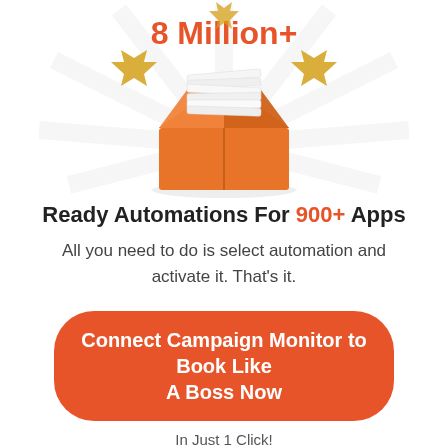[Figure (illustration): An open orange cardboard box with papers/documents coming out of the top, surrounded by golden sunburst rays and golden arrow accents. Above the box in large bold orange text: '8 Million+'.]
Ready Automations For 900+ Apps
All you need to do is select automation and activate it. That's it.
Connect Campaign Monitor to Book Like A Boss Now
In Just 1 Click!